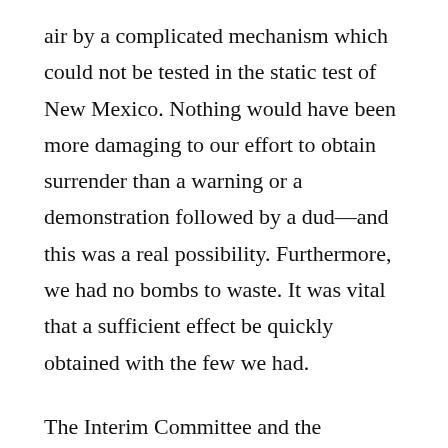air by a complicated mechanism which could not be tested in the static test of New Mexico. Nothing would have been more damaging to our effort to obtain surrender than a warning or a demonstration followed by a dud––and this was a real possibility. Furthermore, we had no bombs to waste. It was vital that a sufficient effect be quickly obtained with the few we had.
The Interim Committee and the Scientific Panel also served as a channel through which suggestions from other scientists working on the project were forwarded to me and to the President. Among the suggestions thus forwarded was one memorandum which questioned using the bomb at all against the